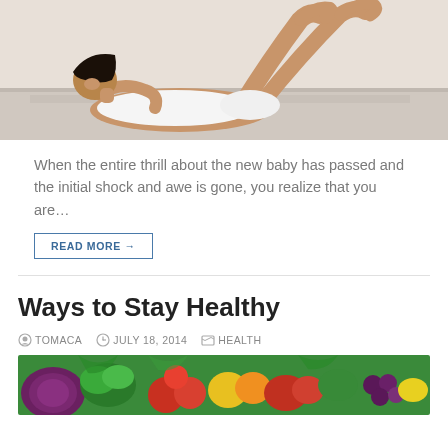[Figure (photo): Woman doing crunches/sit-ups exercise, lying on back with knees raised, wearing white top and shorts, photographed from side in a gym or studio setting.]
When the entire thrill about the new baby has passed and the initial shock and awe is gone, you realize that you are…
READ MORE →
Ways to Stay Healthy
TOMACA   JULY 18, 2014   HEALTH
[Figure (photo): Colorful arrangement of fresh vegetables and fruits including purple cabbage, green vegetables, tomatoes, peppers, grapes and other produce.]